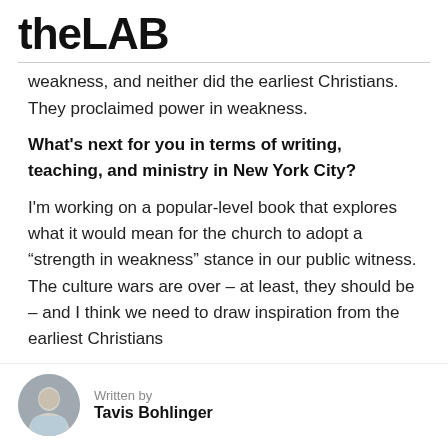theLAB
weakness, and neither did the earliest Christians. They proclaimed power in weakness.
What's next for you in terms of writing, teaching, and ministry in New York City?
I'm working on a popular-level book that explores what it would mean for the church to adopt a “strength in weakness” stance in our public witness. The culture wars are over – at least, they should be – and I think we need to draw inspiration from the earliest Christians
Written by Tavis Bohlinger